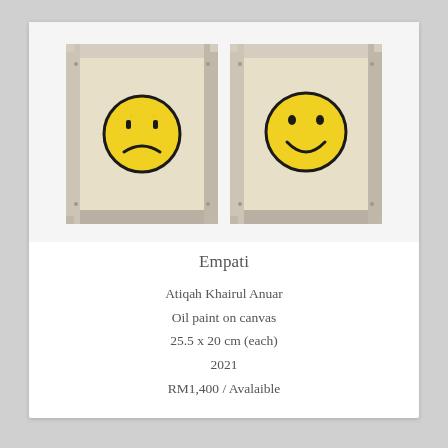[Figure (photo): Two small framed canvas paintings side by side. Left painting shows a yellow sad face (frowning emoji style) on a beige canvas with a whitewashed wooden frame. Right painting shows a yellow happy face (smiling emoji style) on a beige canvas with a similar whitewashed wooden frame.]
Empati
Atiqah Khairul Anuar
Oil paint on canvas
25.5 x 20 cm (each)
2021
RM1,400 / Avalaible